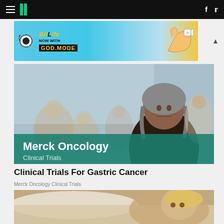HuffPost navigation with hamburger menu, logo, Facebook and Twitter social icons
[Figure (screenshot): BitLife advertisement banner: 'NOW WITH GOD MODE' on cyan/blue background with pointing hand graphic]
[Figure (photo): Merck Oncology Clinical Trials advertisement image featuring a woman with gray hair in a dark top, with blurred family background and teal banner overlay reading 'Merck Oncology Clinical Trials']
Clinical Trials For Gastric Cancer
Merck Oncology Clinical Trials
[Figure (photo): Photo of a blonde woman lying in bed, appearing to be resting or sleeping, partially visible]